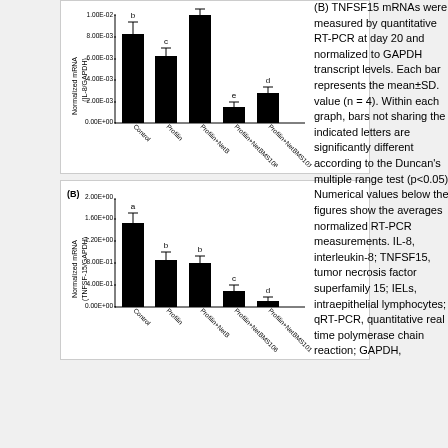[Figure (bar-chart): IL-8/GAPDH normalized mRNA]
[Figure (bar-chart): TNFSF15/GAPDH normalized mRNA (B)]
(B) TNFSF15 mRNAs were measured by quantitative RT-PCR at day 20 and normalized to GAPDH transcript levels. Each bar represents the mean±SD. value (n = 4). Within each graph, bars not sharing the indicated letters are significantly different according to the Duncan's multiple range test (p<0.05). Numerical values below the figures show the averages normalized RT-PCR measurements. IL-8, interleukin-8; TNFSF15, tumor necrosis factor superfamily 15; IELs, intraepithelial lymphocytes; qRT-PCR, quantitative real time polymerase chain reaction; GAPDH,